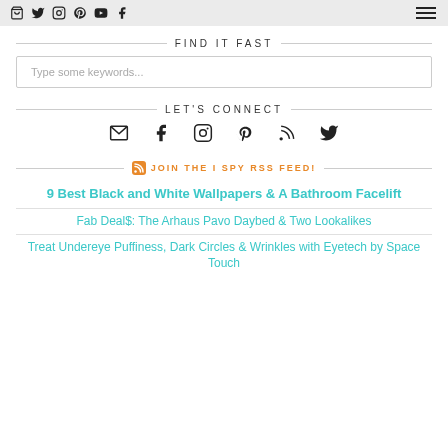Header navigation bar with social icons (bag, twitter, instagram, pinterest, youtube, facebook) and hamburger menu
FIND IT FAST
Type some keywords...
LET'S CONNECT
[Figure (infographic): Social icons row: email, facebook, instagram, pinterest, rss, twitter]
JOIN THE I SPY RSS FEED!
9 Best Black and White Wallpapers & A Bathroom Facelift
Fab Deal$: The Arhaus Pavo Daybed & Two Lookalikes
Treat Undereye Puffiness, Dark Circles & Wrinkles with Eyetech by Space Touch